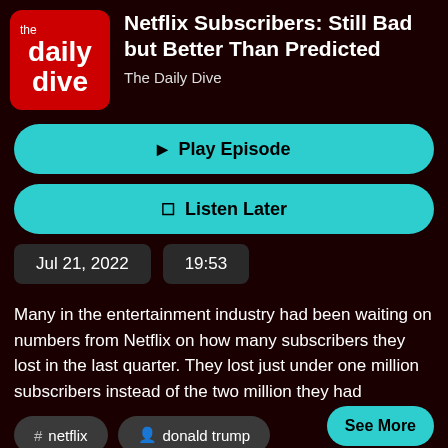[Figure (logo): The Daily Dive podcast logo — red rounded square with white text reading 'the daily dive']
Netflix Subscribers: Still Bad but Better Than Predicted
The Daily Dive
▶ Play Episode
🔖 Listen Later
Jul 21, 2022
19:53
Many in the entertainment industry had been waiting on numbers from Netflix on how many subscribers they lost in the last quarter. They lost just under one million subscribers instead of the two million they had
See More
# netflix
👤 donald trump